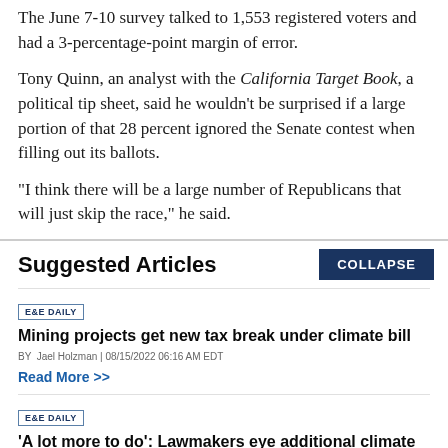The June 7-10 survey talked to 1,553 registered voters and had a 3-percentage-point margin of error.
Tony Quinn, an analyst with the California Target Book, a political tip sheet, said he wouldn't be surprised if a large portion of that 28 percent ignored the Senate contest when filling out its ballots.
"I think there will be a large number of Republicans that will just skip the race," he said.
Suggested Articles
E&E DAILY
Mining projects get new tax break under climate bill
BY Jael Holzman | 08/15/2022 06:16 AM EDT
Read More >>
E&E DAILY
'A lot more to do': Lawmakers eye additional climate action